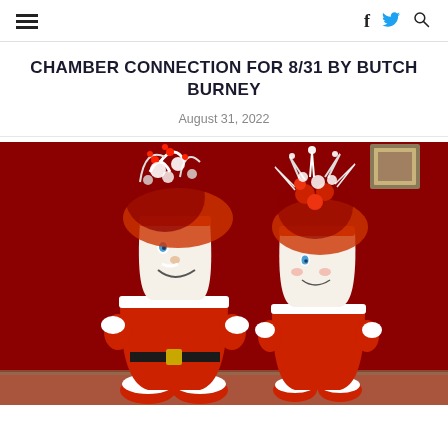≡  f  🐦  🔍
CHAMBER CONNECTION FOR 8/31 BY BUTCH BURNEY
August 31, 2022
[Figure (photo): Two decorative clay pot Santa and Mrs. Claus figures with floral arrangements on top, set against a red background. The figures are painted white with Santa faces and red-and-white outfits.]